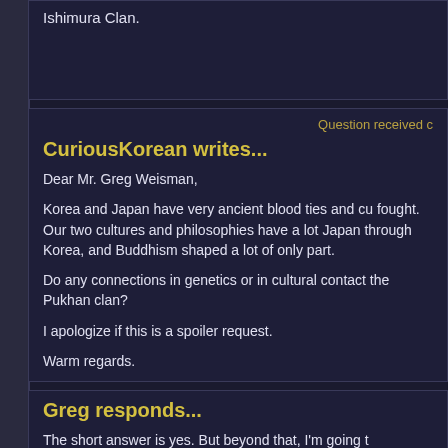Ishimura Clan.
Question received c
CuriousKorean writes...
Dear Mr. Greg Weisman,
Korea and Japan have very ancient blood ties and cu fought. Our two cultures and philosophies have a lot Japan through Korea, and Buddhism shaped a lot of only part.
Do any connections in genetics or in cultural contact the Pukhan clan?
I apologize if this is a spoiler request.
Warm regards.
Greg responds...
The short answer is yes. But beyond that, I'm going t